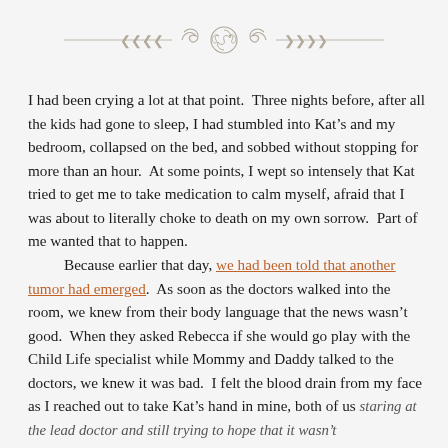[Figure (illustration): Decorative ornamental divider with scrollwork and flourishes, rendered in gray/taupe, with horizontal lines extending to each side.]
I had been crying a lot at that point.  Three nights before, after all the kids had gone to sleep, I had stumbled into Kat's and my bedroom, collapsed on the bed, and sobbed without stopping for more than an hour.  At some points, I wept so intensely that Kat tried to get me to take medication to calm myself, afraid that I was about to literally choke to death on my own sorrow.  Part of me wanted that to happen.
	Because earlier that day, we had been told that another tumor had emerged.  As soon as the doctors walked into the room, we knew from their body language that the news wasn't good.  When they asked Rebecca if she would go play with the Child Life specialist while Mommy and Daddy talked to the doctors, we knew it was bad.  I felt the blood drain from my face as I reached out to take Kat's hand in mine, both of us staring at the lead doctor and still trying to hope that it wasn't